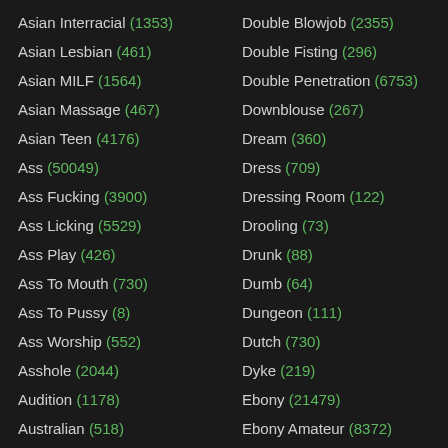Asian Interracial (1353)
Asian Lesbian (461)
Asian MILF (1564)
Asian Massage (467)
Asian Teen (4176)
Ass (50049)
Ass Fucking (3900)
Ass Licking (5529)
Ass Play (426)
Ass To Mouth (730)
Ass To Pussy (8)
Ass Worship (552)
Asshole (2044)
Audition (1178)
Australian (518)
Awesome (626)
Double Blowjob (2355)
Double Fisting (296)
Double Penetration (6753)
Downblouse (267)
Dream (360)
Dress (709)
Dressing Room (122)
Drooling (73)
Drunk (88)
Dumb (64)
Dungeon (111)
Dutch (730)
Dyke (219)
Ebony (21479)
Ebony Amateur (8372)
Ebony Anal (1828)